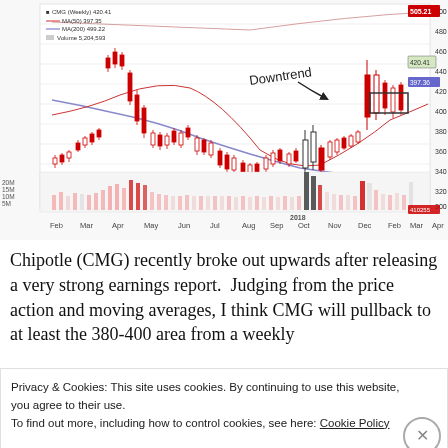[Figure (continuous-plot): CMG (Weekly) stock chart showing candlesticks with MA(50) and MA(200) lines, volume bars, and a handwritten 'Downtrend' annotation with arrow. Price range approximately 280-500+, date range Feb 2017 to Apr 2018. Red/white candlesticks, pink/gray volume bars.]
Chipotle (CMG) recently broke out upwards after releasing a very strong earnings report.  Judging from the price action and moving averages, I think CMG will pullback to at least the 380-400 area from a weekly
Privacy & Cookies: This site uses cookies. By continuing to use this website, you agree to their use.
To find out more, including how to control cookies, see here: Cookie Policy
Close and accept